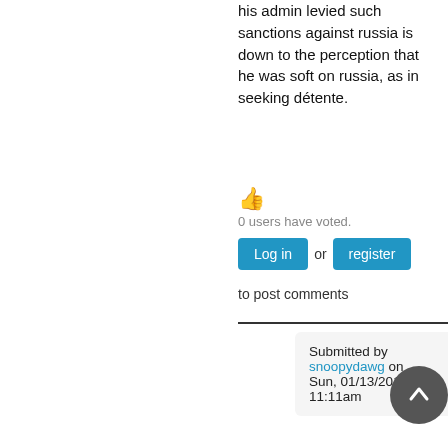his admin levied such sanctions against russia is down to the perception that he was soft on russia, as in seeking détente.
[Figure (illustration): Thumbs up emoji icon in orange/yellow color]
0 users have voted.
Log in or register to post comments
Submitted by snoopydawg on Sun, 01/13/2019 - 11:11am